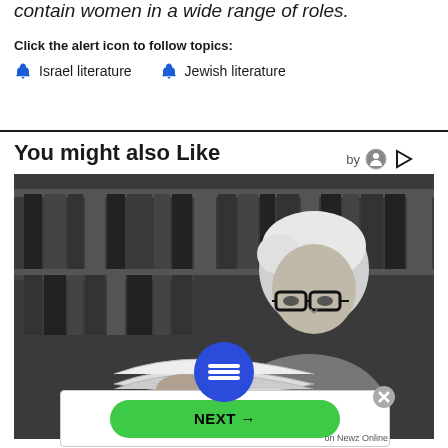contain women in a wide range of roles.
Click the alert icon to follow topics:
Israel literature
Jewish literature
You might also Like
[Figure (photo): Black and white photo of an elderly man with white hair and glasses reading a book, with bookshelves in the background]
[Figure (other): Blue circular menu button with three horizontal lines (hamburger icon)]
[Figure (other): NEXT button advertisement with green rounded rectangle and arrow, labeled 'on Newz Online']